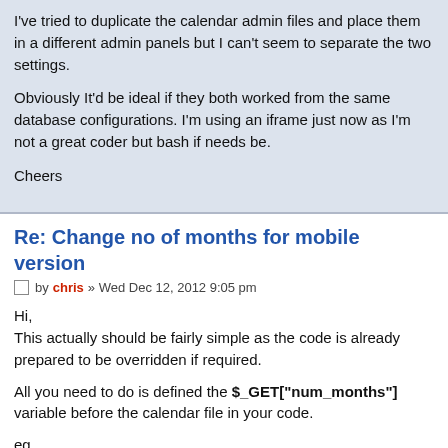I've tried to duplicate the calendar admin files and place them in different admin panels but I can't seem to separate the two settings.
Obviously It'd be ideal if they both worked from the same database configurations. I'm using an iframe just now as I'm not a great coder but bash if needs be.
Cheers
Re: Change no of months for mobile version
by chris » Wed Dec 12, 2012 9:05 pm
Hi,
This actually should be fairly simple as the code is already prepared to be overridden if required.
All you need to do is defined the $_GET["num_months"] variable before the calendar file in your code.
eg.
CODE: SELECT ALL
$_GET["num_months"]=1;
$the_file="ac-includes/cal.inc.php";